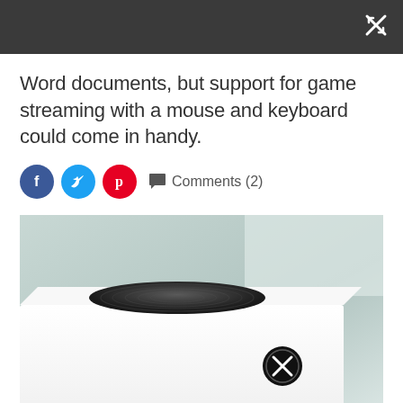Word documents, but support for game streaming with a mouse and keyboard could come in handy.
Comments (2)
[Figure (photo): Xbox Series S console shown from a side-angle view, white rectangular body with a black circular vent on top and the Xbox logo on the front face, on a pale mint/grey gradient background.]